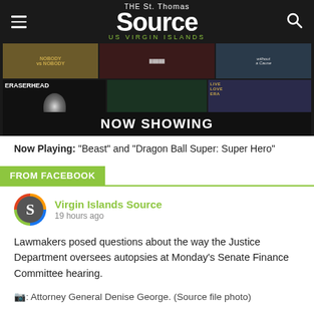THE St. Thomas Source US VIRGIN ISLANDS
[Figure (photo): Movie poster collage showing Eraserhead, Amélie, Casablanca and other films with NOW SHOWING banner at bottom]
Now Playing: “Beast” and “Dragon Ball Super: Super Hero”
FROM FACEBOOK
Virgin Islands Source
19 hours ago
Lawmakers posed questions about the way the Justice Department oversees autopsies at Monday’s Senate Finance Committee hearing.
📷: Attorney General Denise George. (Source file photo)